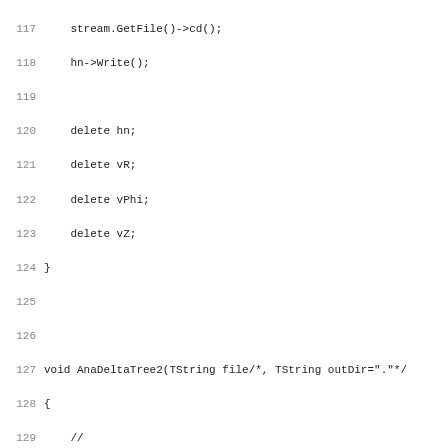Source code listing lines 117-148 (C++ code for AnaDetlaTree2 function and surrounding context)